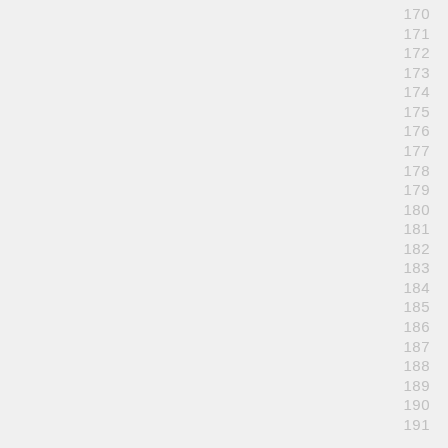170
171
172
173
174
175
176
177
178
179
180
181
182
183
184
185
186
187
188
189
190
191